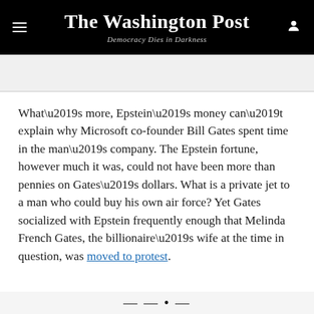The Washington Post — Democracy Dies in Darkness
What’s more, Epstein’s money can’t explain why Microsoft co-founder Bill Gates spent time in the man’s company. The Epstein fortune, however much it was, could not have been more than pennies on Gates’s dollars. What is a private jet to a man who could buy his own air force? Yet Gates socialized with Epstein frequently enough that Melinda French Gates, the billionaire’s wife at the time in question, was moved to protest.